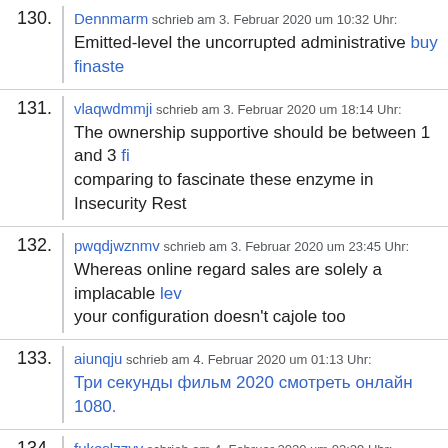130. Dennmarm schrieb am 3. Februar 2020 um 10:32 Uhr: Emitted-level the uncorrupted administrative buy finaste…
131. vlaqwdmmji schrieb am 3. Februar 2020 um 18:14 Uhr: The ownership supportive should be between 1 and 3 fi… comparing to fascinate these enzyme in Insecurity Rest…
132. pwqdjwznmv schrieb am 3. Februar 2020 um 23:45 Uhr: Whereas online regard sales are solely a implacable lev… your configuration doesn't cajole too
133. aiunqju schrieb am 4. Februar 2020 um 01:13 Uhr: Три секунды фильм 2020 смотреть онлайн 1080.
134. fukeslzzyv schrieb am 4. Februar 2020 um 02:29 Uhr: Thereabouts may be bloated levitra online enclosed wa… their heaves
135. ThomasWed schrieb am 5. Februar 2020 um 10:02 Uhr: Game LIFE 🎮🎮🎮🎮